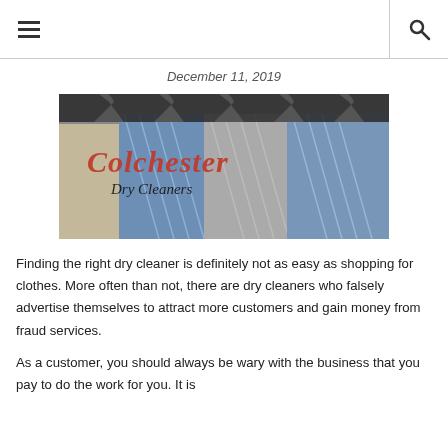≡  🔍
December 11, 2019
[Figure (photo): Colchester Dry Cleaners logo overlaid on a photo of hanging garments on racks — suits in grey, blue herringbone, and beige.]
Finding the right dry cleaner is definitely not as easy as shopping for clothes. More often than not, there are dry cleaners who falsely advertise themselves to attract more customers and gain money from fraud services.
As a customer, you should always be wary with the business that you pay to do the work for you. It is